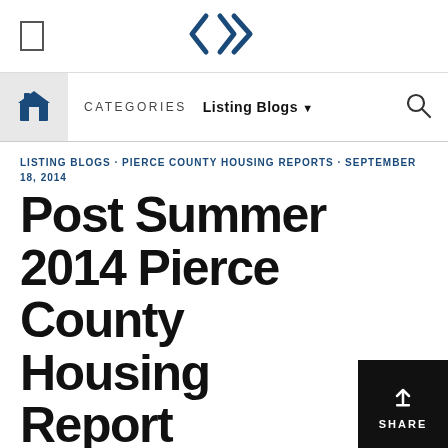[Figure (logo): Diamond/chevron logo icon in dark navy blue centered at top]
CATEGORIES  Listing Blogs ▼
LISTING BLOGS · PIERCE COUNTY HOUSING REPORTS · SEPTEMBER 18, 2014
Post Summer 2014 Pierce County Housing Report
by Michael Robinson